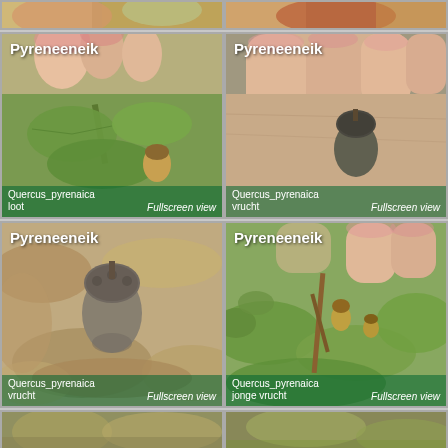[Figure (photo): Partial view of plant/fruit photo at top left - Pyreneeneik]
[Figure (photo): Partial view of plant/fruit photo at top right - Pyreneeneik]
[Figure (photo): Pyreneeneik - Quercus pyrenaica loot (shoot with leaves and young fruit in hand), Fullscreen view]
[Figure (photo): Pyreneeneik - Quercus pyrenaica vrucht (acorn held in fingers), Fullscreen view]
[Figure (photo): Pyreneeneik - Quercus pyrenaica vrucht (acorn on dried leaves on ground), Fullscreen view]
[Figure (photo): Pyreneeneik - Quercus pyrenaica jonge vrucht (young fruit on branch with leaves), Fullscreen view]
[Figure (photo): Partial view of plant photo at bottom left - Pyreneeneik]
[Figure (photo): Partial view of plant photo at bottom right - Pyreneeneik]